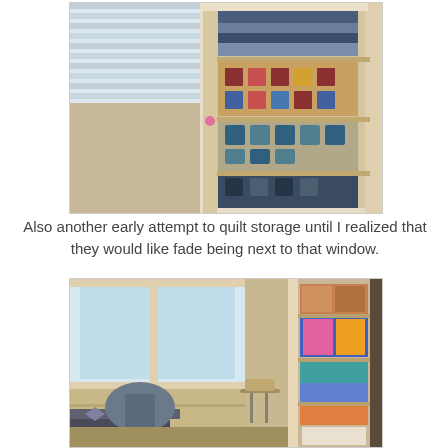[Figure (photo): A closet with shelves stacked full of folded quilts in various colorful patterns, next to a window with white blinds.]
Also another early attempt to quilt storage until I realized that they would like fade being next to that window.
[Figure (photo): A room with a desk chair, sewing table, and an open closet on the right side containing stacked quilts and storage bins.]